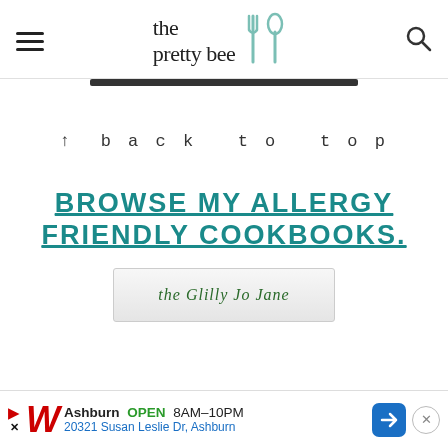the pretty bee
↑ back to top
BROWSE MY ALLERGY FRIENDLY COOKBOOKS.
[Figure (photo): Partial view of a cookbook with cursive text on cover]
Ashburn OPEN 8AM–10PM 20321 Susan Leslie Dr, Ashburn